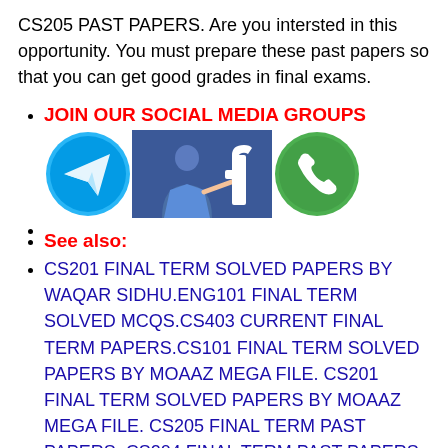CS205 PAST PAPERS. Are you intersted in this opportunity. You must prepare these past papers so that you can get good grades in final exams.
JOIN OUR SOCIAL MEDIA GROUPS
[Figure (illustration): Three social media icons: Telegram (blue circle with paper plane), Facebook (dark blue background with 'f' logo and person presenting), WhatsApp (green circle with phone handset)]
See also:
CS201 FINAL TERM SOLVED PAPERS BY WAQAR SIDHU.ENG101 FINAL TERM SOLVED MCQS.CS403 CURRENT FINAL TERM PAPERS.CS101 FINAL TERM SOLVED PAPERS BY MOAAZ MEGA FILE. CS201 FINAL TERM SOLVED PAPERS BY MOAAZ MEGA FILE. CS205 FINAL TERM PAST PAPERS. CS204 FINAL TERM PAST PAPERS